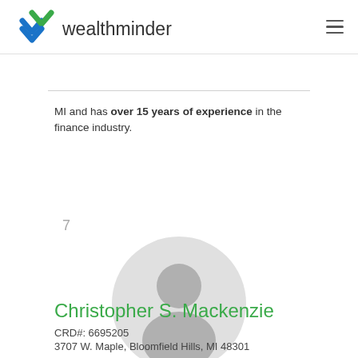wealthminder
MI and has over 15 years of experience in the finance industry.
7
[Figure (photo): Default grey silhouette avatar of a person in a circle]
Christopher S. Mackenzie
CRD#: 6695205
3707 W. Maple, Bloomfield Hills, MI 48301